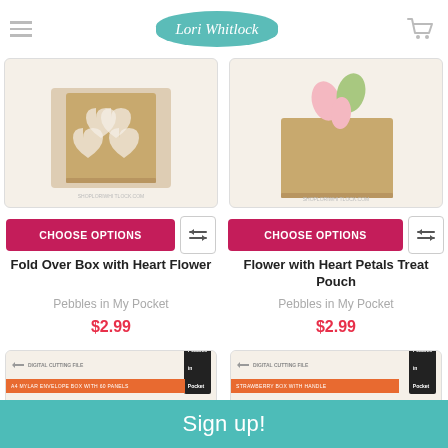Lori Whitlock
[Figure (photo): Fold Over Box with Heart Flower product photo - kraft paper box with heart-shaped floral cutouts]
[Figure (photo): Flower with Heart Petals Treat Pouch product photo - kraft paper box with pink and green flower petals]
CHOOSE OPTIONS
CHOOSE OPTIONS
Fold Over Box with Heart Flower
Flower with Heart Petals Treat Pouch
Pebbles in My Pocket
Pebbles in My Pocket
$2.99
$2.99
[Figure (photo): Digital cutting file product - Pebbles in my Pocket, flat kraft paper sheet partially visible]
[Figure (photo): Digital cutting file product - Strawberry Box with Handle, kraft paper basket with handle partially visible]
Sign up!